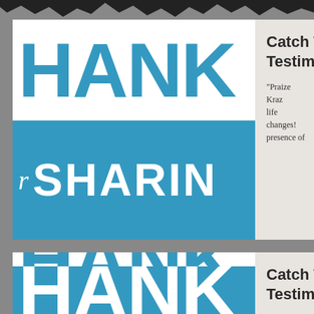[Figure (screenshot): Screenshot of a webpage showing two card-style entries. Each card has a blue-and-white graphic on the left showing partial text 'HANK / r SHARING' in large bold letters (blue on white for top, white on blue for bottom), and on the right a gray panel with title 'Catch T... Testimo...' and a partial quote. Top card quote: 'Praize Kraz... life changes!... presence of...' Bottom card quote: 'I did not kno... other than e...']
Catch T... Testimo...
"Praize Kraz... life changes!... presence of...
Catch T... Testimo...
"I did not kno... other than e...